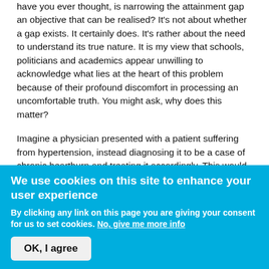have you ever thought, is narrowing the attainment gap an objective that can be realised? It's not about whether a gap exists. It certainly does. It's rather about the need to understand its true nature. It is my view that schools, politicians and academics appear unwilling to acknowledge what lies at the heart of this problem because of their profound discomfort in processing an uncomfortable truth. You might ask, why does this matter?
Imagine a physician presented with a patient suffering from hypertension, instead diagnosing it to be a case of chronic heartburn and treating it accordingly. This would be in direct contradiction to the evidence and could result in a serious deterioration in the patient's wellbeing. It would not be an acceptable course of action. Our handling of the Gap is closely akin to this.
We use cookies on this site to enhance your user experience
By clicking any link on this page you are giving your consent for us to set cookies. No, give me more info
OK, I agree